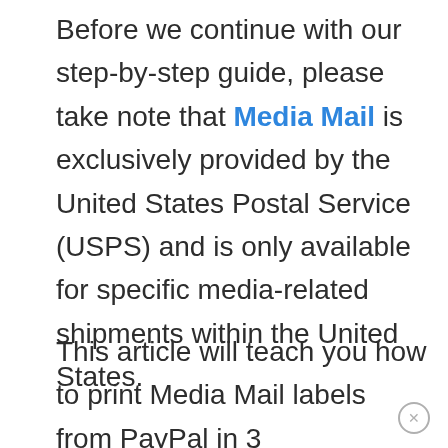Before we continue with our step-by-step guide, please take note that Media Mail is exclusively provided by the United States Postal Service (USPS) and is only available for specific media-related shipments within the United States.
This article will teach you how to print Media Mail labels from PayPal in 3 simple steps. We've also included a section at the end where we discuss